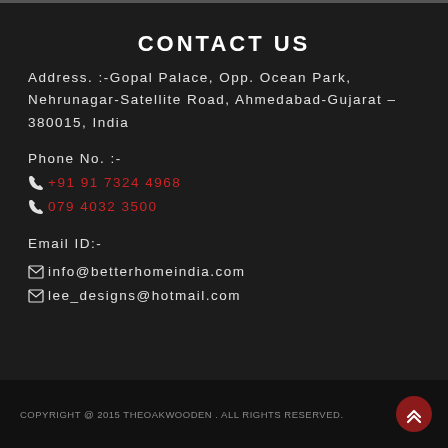CONTACT US
Address. :-Gopal Palace, Opp. Ocean Park, Nehrunagar-Satellite Road, Ahmedabad-Gujarat – 380015, India
Phone No. :-
☎+91 91 7324 4968
☎079 4032 3500
Email ID:-
✉info@betterhomeindia.com
✉lee_designs@hotmail.com
COPYRIGHT @ 2015 THEOAKWOODEN . ALL RIGHTS RESERVED.